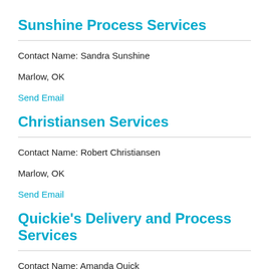Sunshine Process Services
Contact Name: Sandra Sunshine
Marlow, OK
Send Email
Christiansen Services
Contact Name: Robert Christiansen
Marlow, OK
Send Email
Quickie's Delivery and Process Services
Contact Name: Amanda Quick
Marlow, OK